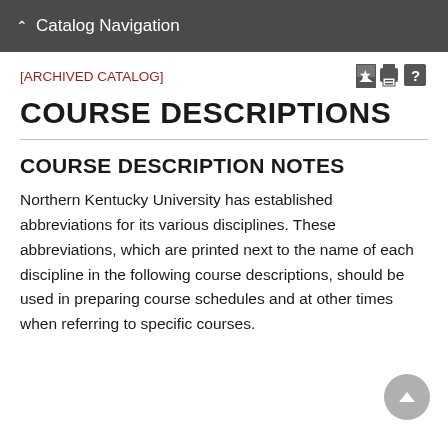Catalog Navigation
[ARCHIVED CATALOG]
COURSE DESCRIPTIONS
COURSE DESCRIPTION NOTES
Northern Kentucky University has established abbreviations for its various disciplines. These abbreviations, which are printed next to the name of each discipline in the following course descriptions, should be used in preparing course schedules and at other times when referring to specific courses.